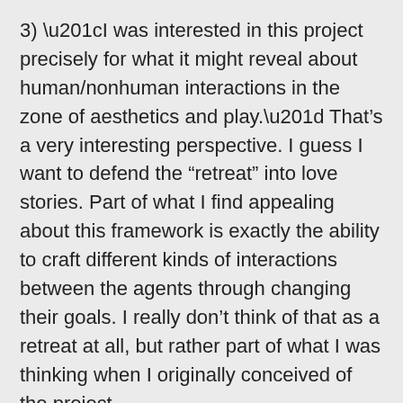3) “I was interested in this project precisely for what it might reveal about human/nonhuman interactions in the zone of aesthetics and play.” That’s a very interesting perspective. I guess I want to defend the “retreat” into love stories. Part of what I find appealing about this framework is exactly the ability to craft different kinds of interactions between the agents through changing their goals. I really don’t think of that as a retreat at all, but rather part of what I was thinking when I originally conceived of the project.
Flocking behavior is definitely part of what I was thinking of when I originally conceived of this—and to talk about that a little bit...